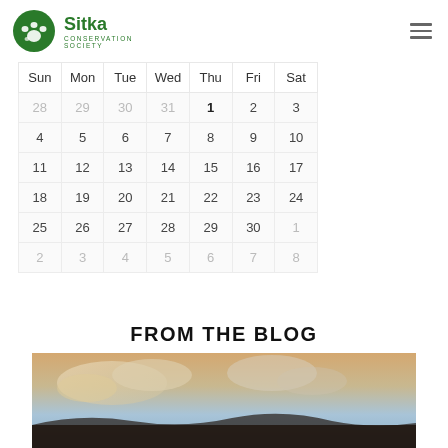[Figure (logo): Sitka Conservation Society logo: green circle with bear paw and footprint icon, text 'Sitka CONSERVATION SOCIETY']
| Sun | Mon | Tue | Wed | Thu | Fri | Sat |
| --- | --- | --- | --- | --- | --- | --- |
| 28 | 29 | 30 | 31 | 1 | 2 | 3 |
| 4 | 5 | 6 | 7 | 8 | 9 | 10 |
| 11 | 12 | 13 | 14 | 15 | 16 | 17 |
| 18 | 19 | 20 | 21 | 22 | 23 | 24 |
| 25 | 26 | 27 | 28 | 29 | 30 | 1 |
| 2 | 3 | 4 | 5 | 6 | 7 | 8 |
FROM THE BLOG
[Figure (photo): Outdoor photo showing sky with clouds in warm golden and blue tones, with dark silhouetted figures or landscape at bottom]